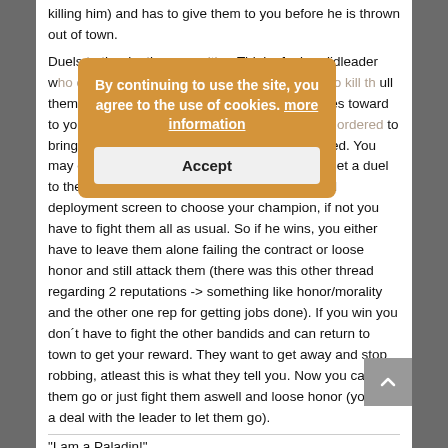killing him) and has to give them to you before he is thrown out of town.
Duels to the death come with a bandidleader who offers some kind of honor. Your strength to kill them all but maybe not without taking some comes toward to you asking for a duel as it is his head you are ordered to bring back to town. He wants his men to be saved. You may or may not accept that offer. If you do you get a duel to the death leading you to the above mentioned deployment screen to choose your champion, if not you have to fight them all as usual. So if he wins, you either have to leave them alone failing the contract or loose honor and still attack them (there was this other thread regarding 2 reputations -> something like honor/morality and the other one rep for getting jobs done). If you win you don´t have to fight the other bandids and can return to town to get your reward. They want to get away and stop robbing, atleast this is what they tell you. Now you can let them go or just fight them aswell and loose honor (you had a deal with the leader to let them go).
"I am a Paladin!"